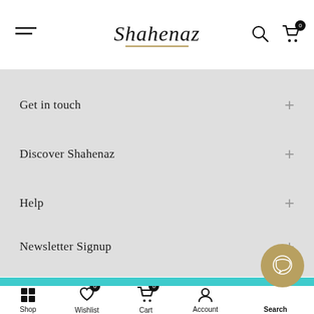Shahenaz — Shop Navigation Header
Get in touch
Discover Shahenaz
Help
Newsletter Signup
Shop | Wishlist 0 | Cart 0 | Account | Search